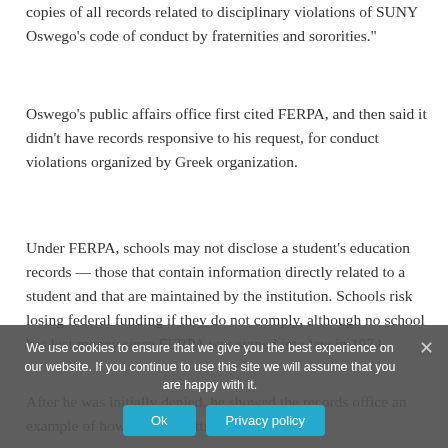copies of all records related to disciplinary violations of SUNY Oswego's code of conduct by fraternities and sororities."
Oswego's public affairs office first cited FERPA, and then said it didn't have records responsive to his request, for conduct violations organized by Greek organization.
Under FERPA, schools may not disclose a student's education records — those that contain information directly related to a student and that are maintained by the institution. Schools risk losing federal funding if they do not comply, although no school has lost money since FERPA was signed into law in 1974.
After he was initially denied, he showed the records office an example of how SUNY Plattsburgh